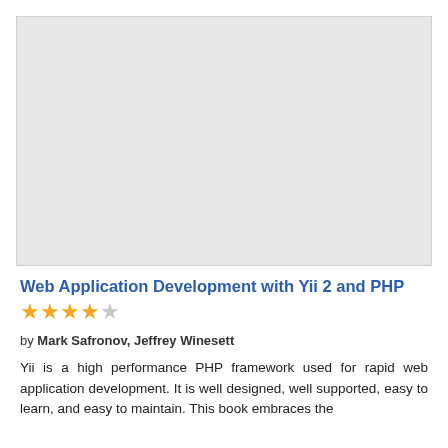[Figure (photo): Book cover image placeholder — light gray rectangle representing the cover of 'Web Application Development with Yii 2 and PHP']
Web Application Development with Yii 2 and PHP
★★★★☆
by Mark Safronov, Jeffrey Winesett
Yii is a high performance PHP framework used for rapid web application development. It is well designed, well supported, easy to learn, and easy to maintain. This book embraces the